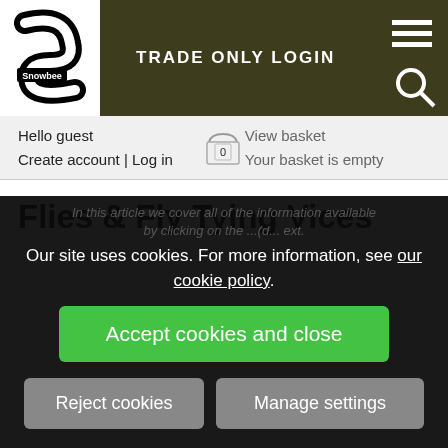[Figure (logo): Snowbee logo — black and white S-shaped fish on white background with 'Snowbee' text]
TRADE ONLY LOGIN
Hello guest
Create account | Log in
View basket
Your basket is empty
Flies & Fly Tying Vices
Our site uses cookies. For more information, see our cookie policy.
Accept cookies and close
Reject cookies
Manage settings